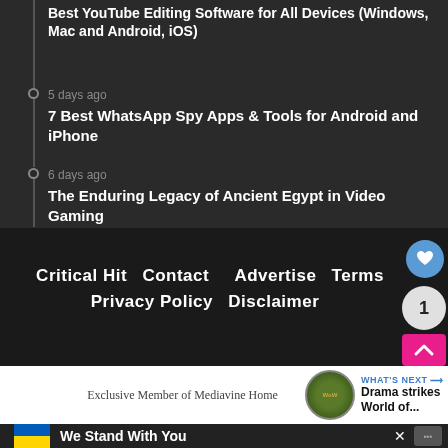Best YouTube Editing Software for All Devices (Windows, Mac and Android, iOS)
5 days ago
7 Best WhatsApp Spy Apps & Tools for Android and iPhone
6 days ago
The Enduring Legacy of Ancient Egypt in Video Gaming
Critical Hit  Contact  Advertise  Terms  Privacy Policy  Disclaimer
[Figure (screenshot): Heart/like icon button (blue circle with heart icon), count badge showing 1, and pink scroll-to-top arrow button]
Exclusive Member of Mediavine Home
[Figure (screenshot): WHAT'S NEXT arrow - Drama strikes World of... with World of Warcraft game logo thumbnail]
[Figure (screenshot): We Stand With You ad banner with Ukraine flag colors, close X button, and app icon]
We Stand With You